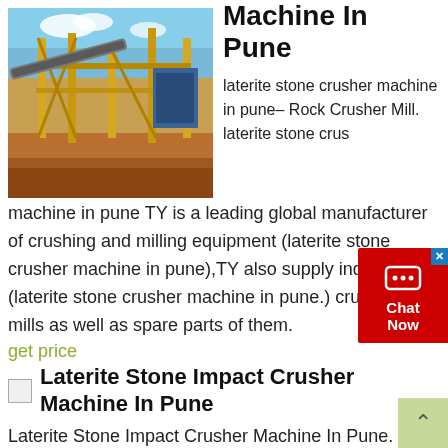[Figure (photo): Industrial stone crusher / mining equipment facility with yellow steel structures, conveyors, and red/brown earth tones under a partly cloudy sky]
Machine In Pune
laterite stone crusher machine in pune– Rock Crusher Mill. laterite stone crusher machine in pune TY is a leading global manufacturer of crushing and milling equipment (laterite stone crusher machine in pune),TY also supply individual (laterite stone crusher machine in pune.) crushers and mills as well as spare parts of them.
get price
Laterite Stone Impact Crusher Machine In Pune
Laterite Stone Impact Crusher Machine In Pune. Atelier manufacturer of gokak stone from maharashtra india.Manufacturer and exporters of gokak stone, wall cladding offered by atelier, maharashtra, india manufacturer exporters wholesale suppliers of gokak stone, wall cladding our products and services gokak stone wall cladding ruta kanade bungalow